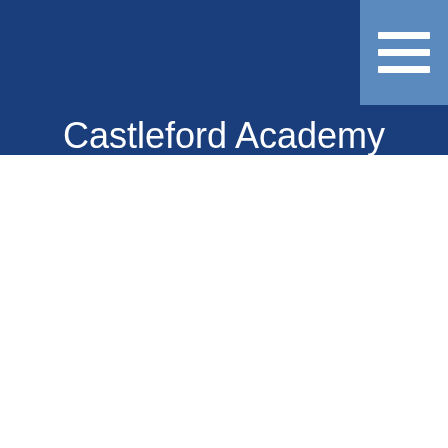[Figure (other): Hamburger menu icon button — three horizontal white lines on a blue rectangular background, positioned in the top-right corner]
Castleford Academy Produce PPE